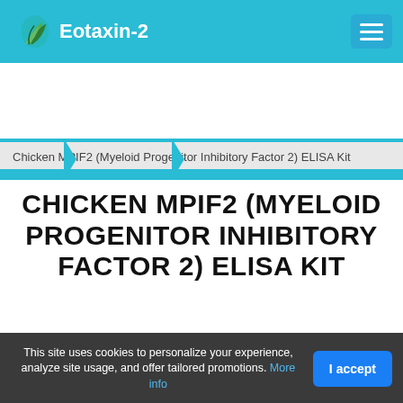Eotaxin-2
Home > All suppliers > MyBioSource
Chicken MPIF2 (Myeloid Progenitor Inhibitory Factor 2) ELISA Kit
CHICKEN MPIF2 (MYELOID PROGENITOR INHIBITORY FACTOR 2) ELISA KIT
This site uses cookies to personalize your experience, analyze site usage, and offer tailored promotions. More info